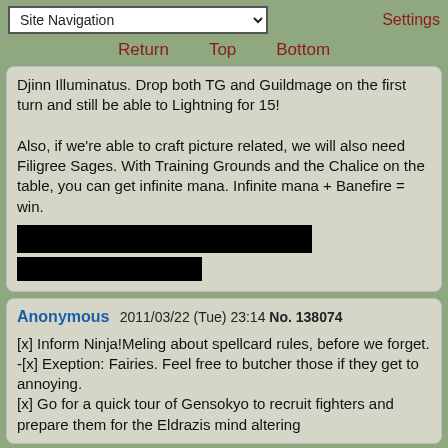Site Navigation | Settings | Return | Top | Bottom
Djinn Illuminatus. Drop both TG and Guildmage on the first turn and still be able to Lightning for 15!

Also, if we're able to craft picture related, we will also need Filigree Sages. With Training Grounds and the Chalice on the table, you can get infinite mana. Infinite mana + Banefire = win.
[Figure (other): Two black redacted/censored bars of text]
Anonymous 2011/03/22 (Tue) 23:14 No. 138074

[x] Inform Ninja!Meling about spellcard rules, before we forget.
-[x] Exeption: Fairies. Feel free to butcher those if they get to annoying.
[x] Go for a quick tour of Gensokyo to recruit fighters and prepare them for the Eldrazis mind altering